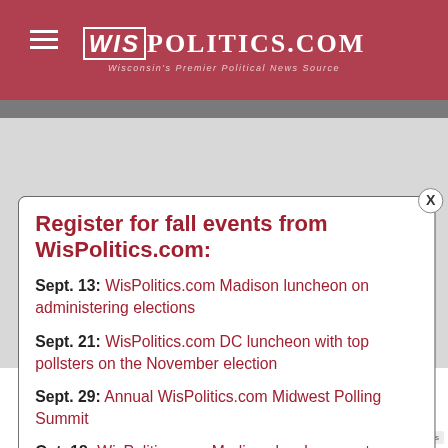WISPOLITICS.COM — Wisconsin's Premier Political News Source
Register for fall events from WisPolitics.com:
Sept. 13: WisPolitics.com Madison luncheon on administering elections
Sept. 21: WisPolitics.com DC luncheon with top pollsters on the November election
Sept. 29: Annual WisPolitics.com Midwest Polling Summit
Oct. 18: WisPolitics.com Madison luncheon on top legislative races
opportunities to take an active role protecting and promoting voting Wisconsin